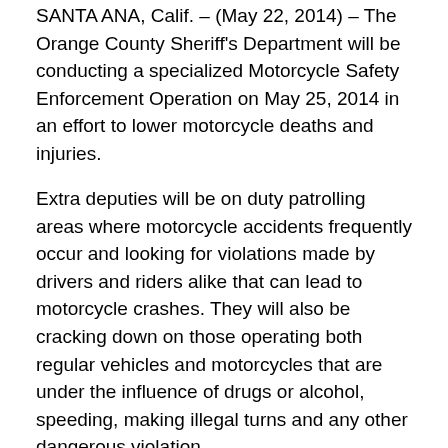SANTA ANA, Calif. – (May 22, 2014) – The Orange County Sheriff's Department will be conducting a specialized Motorcycle Safety Enforcement Operation on May 25, 2014 in an effort to lower motorcycle deaths and injuries.
Extra deputies will be on duty patrolling areas where motorcycle accidents frequently occur and looking for violations made by drivers and riders alike that can lead to motorcycle crashes. They will also be cracking down on those operating both regular vehicles and motorcycles that are under the influence of drugs or alcohol, speeding, making illegal turns and any other dangerous violation.
Motorcycle fatalities saw a phenomenal drop of 37 percent from 2008 to 2010, but then rose 23 percent by 2012. From 2012 to 2013 there were 131 injuries and 5 fatalities from collisions involving motorcycles in the Orange County Sheriff's Department contracted areas. California collision data reveals the primary causes of